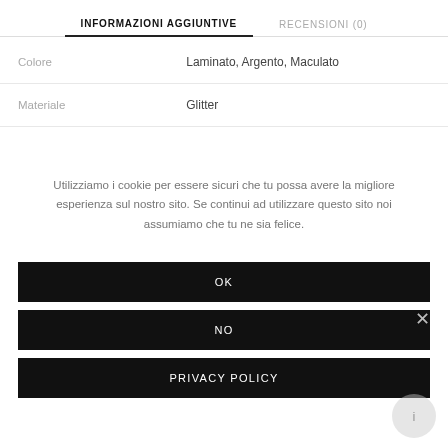INFORMAZIONI AGGIUNTIVE
RECENSIONI (0)
| Colore | Laminato, Argento, Maculato |
| Materiale | Glitter |
Related Products
Utilizziamo i cookie per essere sicuri che tu possa avere la migliore esperienza sul nostro sito. Se continui ad utilizzare questo sito noi assumiamo che tu ne sia felice.
OK
NO
PRIVACY POLICY